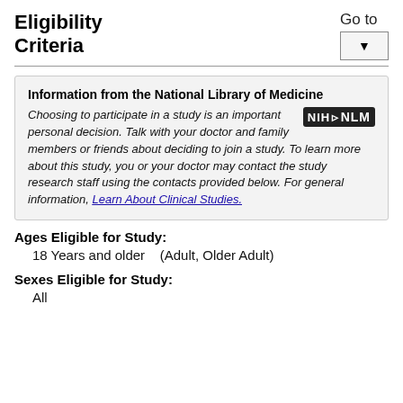Eligibility Criteria
Go to
Information from the National Library of Medicine
Choosing to participate in a study is an important personal decision. Talk with your doctor and family members or friends about deciding to join a study. To learn more about this study, you or your doctor may contact the study research staff using the contacts provided below. For general information, Learn About Clinical Studies.
Ages Eligible for Study:
18 Years and older   (Adult, Older Adult)
Sexes Eligible for Study:
All